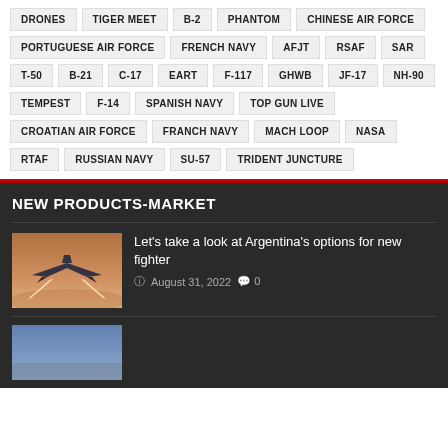DRONES
TIGER MEET
B-2
PHANTOM
CHINESE AIR FORCE
PORTUGUESE AIR FORCE
FRENCH NAVY
AFJT
RSAF
SAR
T-50
B-21
C-17
EART
F-117
GHWB
JF-17
NH-90
TEMPEST
F-14
SPANISH NAVY
TOP GUN LIVE
CROATIAN AIR FORCE
FRANCH NAVY
MACH LOOP
NASA
RTAF
RUSSIAN NAVY
SU-57
TRIDENT JUNCTURE
NEW PRODUCTS-MARKET
Let's take a look at Argentina's options for new fighter
August 31, 2022  0